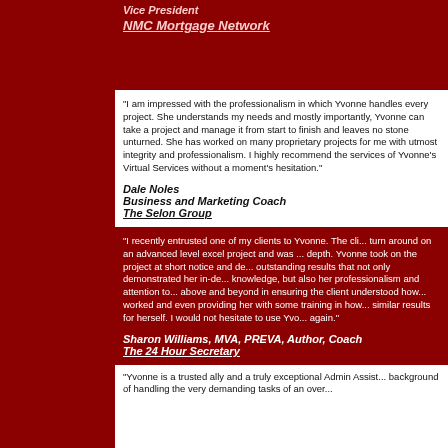Vice President
NMC Mortgage Network
"I am impressed with the professionalism in which Yvonne handles every project. She understands my needs and mostly importantly, Yvonne can take a project and manage it from start to finish and leaves no stone unturned. She has worked on many proprietary projects for me with utmost integrity and professionalism. I highly recommend the services of Yvonne's Virtual Services without a moment's hesitation."
Dale Noles
Business and Marketing Coach
The Selon Group
“I recently entrusted one of my clients to Yvonne. The cli... turn around on an advanced level excel project and was ... depth. Yvonne took on the project at short notice and de... outstanding results that not only demonstrated her in-de... knowledge, but also her professionalism and attention to... above and beyond in ensuring the client understood how... worked and even providing her with some training in ho... similar results for herself. I would not hesitate to use Yvo... again.”
Sharon Williams, MVA, PREVA, Author, Coach
The 24 Hour Secretary
"Yvonne is a trusted ally and a truly exceptional Admin Assist... background of handling the very demanding tasks of an over...